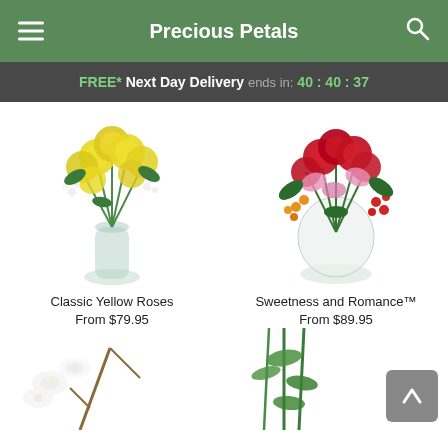Precious Petals
FREE* Next Day Delivery ends in: 40 : 40 : 37
[Figure (photo): Classic Yellow Roses bouquet in a glass vase with baby's breath]
Classic Yellow Roses
From $79.95
[Figure (photo): Sweetness and Romance bouquet with red roses, pink flowers and berries in a white vase]
Sweetness and Romance™
From $89.95
[Figure (photo): White floral arrangement partially visible at bottom left]
[Figure (photo): Green floral arrangement partially visible at bottom right]